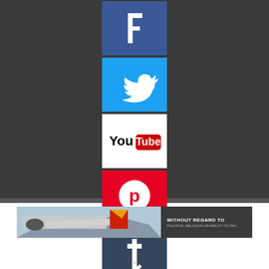[Figure (logo): Facebook logo icon - white F on blue background]
[Figure (logo): Twitter logo icon - white bird on light blue background]
[Figure (logo): YouTube logo icon - YouTube wordmark with red play button on white background]
[Figure (logo): Pinterest logo icon - white P pin mark on red background]
[Figure (logo): Tumblr logo icon - white t on dark blue background]
[Figure (photo): Cargo aircraft being loaded on tarmac with red/yellow tail, with overlaid text banner reading WITHOUT REGARD TO POLITICS, RELIGION OR ABILITY TO PAY]